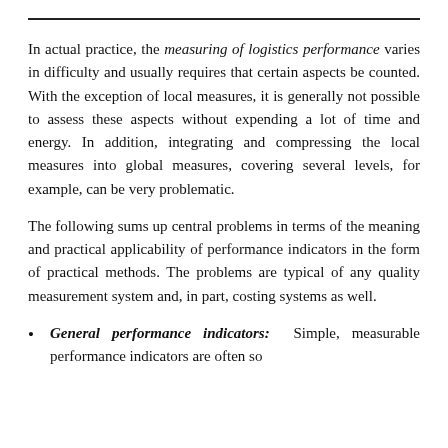In actual practice, the measuring of logistics performance varies in difficulty and usually requires that certain aspects be counted. With the exception of local measures, it is generally not possible to assess these aspects without expending a lot of time and energy. In addition, integrating and compressing the local measures into global measures, covering several levels, for example, can be very problematic.
The following sums up central problems in terms of the meaning and practical applicability of performance indicators in the form of practical methods. The problems are typical of any quality measurement system and, in part, costing systems as well.
General performance indicators: Simple, measurable performance indicators are often so...